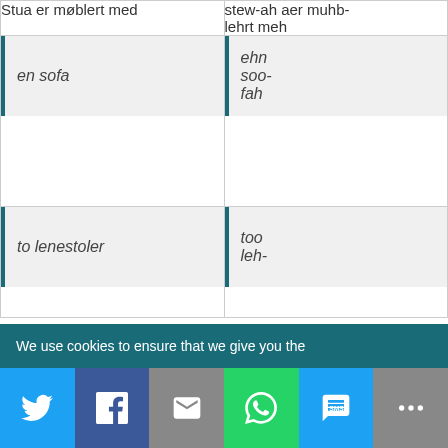| Stua er møblert med | stew-ah aer muhb-lehrt meh |
| --- | --- |
| en sofa | ehn soo-fah |
| to lenestoler | too leh- |
We use cookies to ensure that we give you the